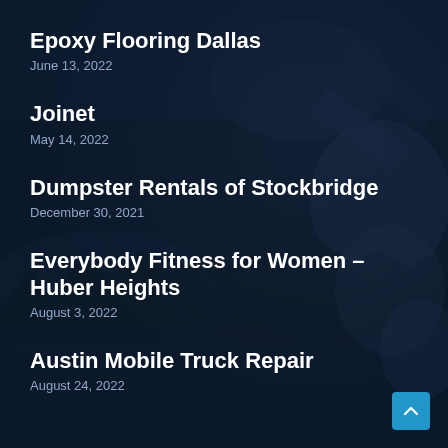Epoxy Flooring Dallas
June 13, 2022
Joinet
May 14, 2022
Dumpster Rentals of Stockbridge
December 30, 2021
Everybody Fitness for Women – Huber Heights
August 3, 2022
Austin Mobile Truck Repair
August 24, 2022